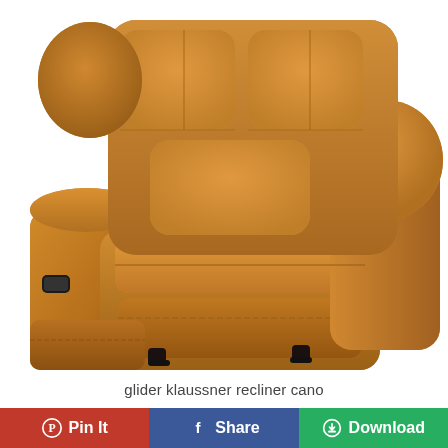[Figure (photo): Close-up photograph of a tan/brown leather glider recliner chair (Klaussner Cano model), showing tufted back cushions, padded armrests, seat cushion, and small black feet on a white background.]
glider klaussner recliner cano
Pin It
Share
Download